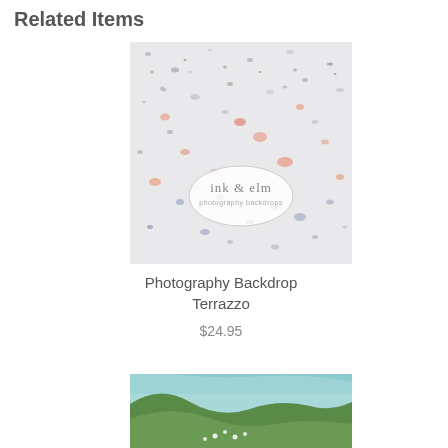Related Items
[Figure (photo): Terrazzo pattern photography backdrop with ink & elm logo watermark]
Photography Backdrop Terrazzo
$24.95
[Figure (photo): Teal and green abstract photography backdrop, partially visible]